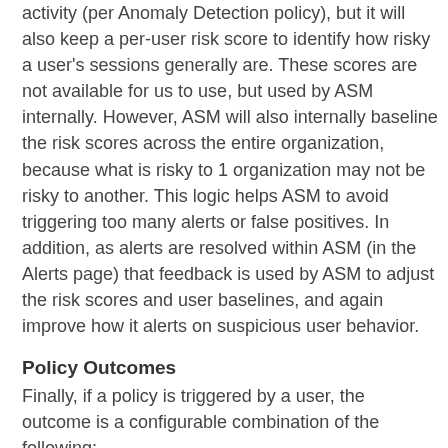activity (per Anomaly Detection policy), but it will also keep a per-user risk score to identify how risky a user's sessions generally are. These scores are not available for us to use, but used by ASM internally. However, ASM will also internally baseline the risk scores across the entire organization, because what is risky to 1 organization may not be risky to another. This logic helps ASM to avoid triggering too many alerts or false positives. In addition, as alerts are resolved within ASM (in the Alerts page) that feedback is used by ASM to adjust the risk scores and user baselines, and again improve how it alerts on suspicious user behavior.
Policy Outcomes
Finally, if a policy is triggered by a user, the outcome is a configurable combination of the following:
Log an alert in the Advanced Security Management Alerts page (to be reviewed in a future post)
(Optionally) Send an alert to one or more users or groups, either by email and/or text message
(Optionally) Suspend the user account to prevent